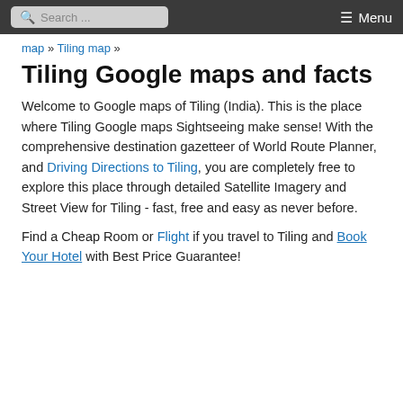Search ... Menu
map » Tiling map »
Tiling Google maps and facts
Welcome to Google maps of Tiling (India). This is the place where Tiling Google maps Sightseeing make sense! With the comprehensive destination gazetteer of World Route Planner, and Driving Directions to Tiling, you are completely free to explore this place through detailed Satellite Imagery and Street View for Tiling - fast, free and easy as never before.
Find a Cheap Room or Flight if you travel to Tiling and Book Your Hotel with Best Price Guarantee!